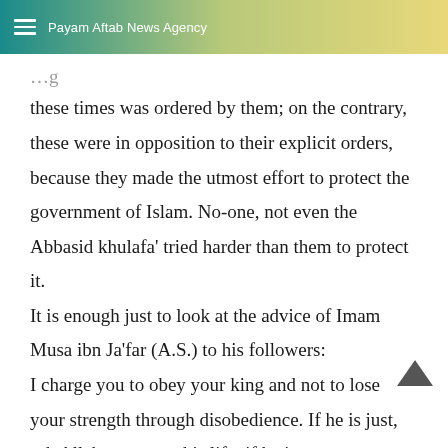Payam Aftab News Agency
these times was ordered by them; on the contrary, these were in opposition to their explicit orders, because they made the utmost effort to protect the government of Islam. No-one, not even the Abbasid khulafa' tried harder than them to protect it. It is enough just to look at the advice of Imam Musa ibn Ja'far (A.S.) to his followers: I charge you to obey your king and not to lose your strength through disobedience. If he is just, ask Allah to protect his life; if he is an oppressor, ask Allah to reform him. For your interests are identical with his interests. Verily, a just king is really like a father wish for